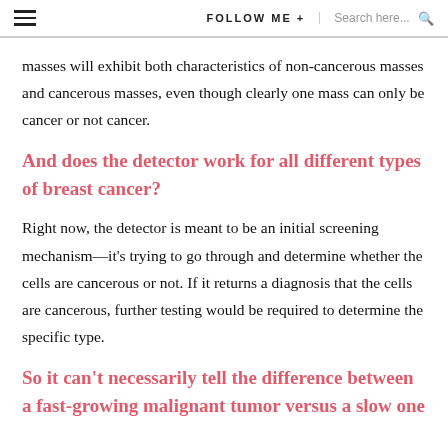FOLLOW ME +  Search here...
masses will exhibit both characteristics of non-cancerous masses and cancerous masses, even though clearly one mass can only be cancer or not cancer.
And does the detector work for all different types of breast cancer?
Right now, the detector is meant to be an initial screening mechanism—it's trying to go through and determine whether the cells are cancerous or not. If it returns a diagnosis that the cells are cancerous, further testing would be required to determine the specific type.
So it can't necessarily tell the difference between a fast-growing malignant tumor versus a slow one